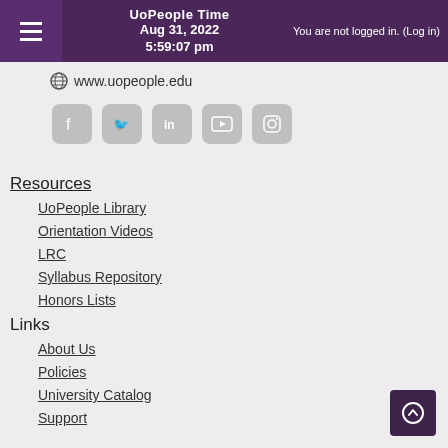UoPeople Time Aug 31, 2022 5:59:07 pm You are not logged in. (Log in)
www.uopeople.edu
[Figure (infographic): Row of 5 social media icon buttons: Facebook, Twitter, LinkedIn, YouTube, Instagram]
Resources
UoPeople Library
Orientation Videos
LRC
Syllabus Repository
Honors Lists
Links
About Us
Policies
University Catalog
Support